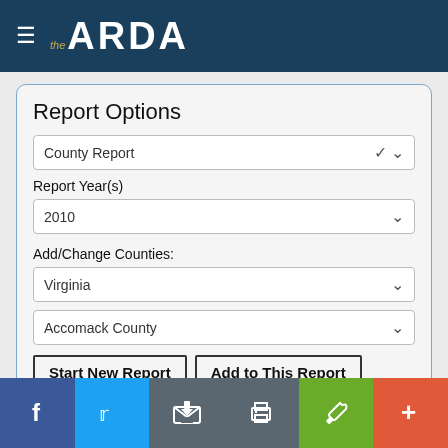the ARDA
Report Options
County Report (dropdown)
Report Year(s)
2010 (dropdown)
Add/Change Counties:
Virginia (dropdown)
Accomack County (dropdown)
Start New Report | Add to This Report
Report Sections:
Main Report
f  Twitter  Email  Print  Tool  +